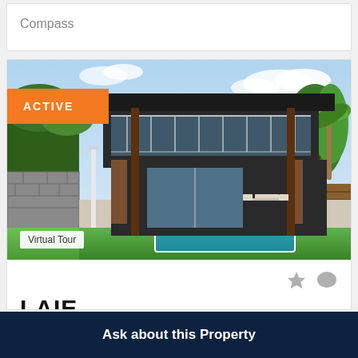Compass
[Figure (photo): Exterior rendering of a modern two-story house with pool, tropical landscaping, and an 'ACTIVE' orange badge overlay, plus a 'Virtual Tour' label at bottom left.]
LAIE
Ask about this Property